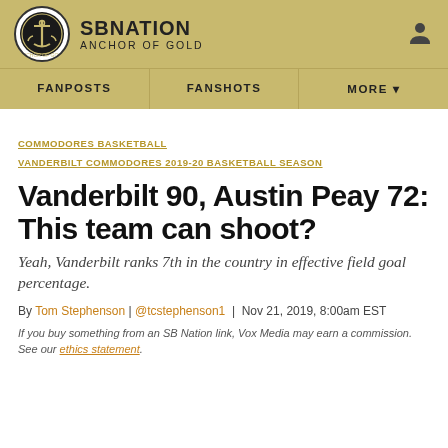SBNATION ANCHOR OF GOLD
FANPOSTS | FANSHOTS | MORE
COMMODORES BASKETBALL
VANDERBILT COMMODORES 2019-20 BASKETBALL SEASON
Vanderbilt 90, Austin Peay 72: This team can shoot?
Yeah, Vanderbilt ranks 7th in the country in effective field goal percentage.
By Tom Stephenson | @tcstephenson1 | Nov 21, 2019, 8:00am EST
If you buy something from an SB Nation link, Vox Media may earn a commission. See our ethics statement.